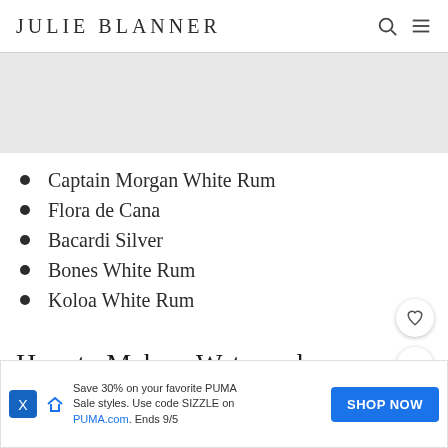JULIE BLANNER
[Figure (photo): Gray placeholder image area at top of page]
Captain Morgan White Rum
Flora de Cana
Bacardi Silver
Bones White Rum
Koloa White Rum
How to Make a Watermelon Mojito
Prepare fresh watermelon. Set …